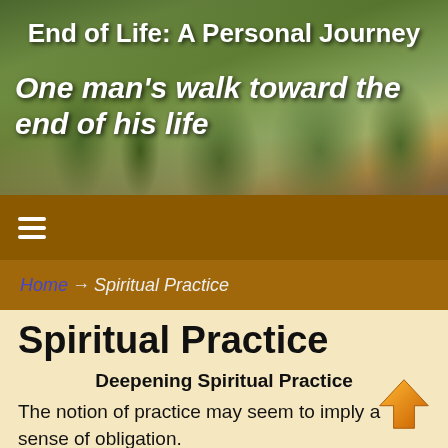[Figure (photo): Cemetery/graveyard outdoor photo used as website header background with green trees and headstones]
End of Life: A Personal Journey
One man's walk toward the end of his life
≡ (hamburger menu icon)
Home → Spiritual Practice
Spiritual Practice
Deepening Spiritual Practice
The notion of practice may seem to imply a sense of obligation.